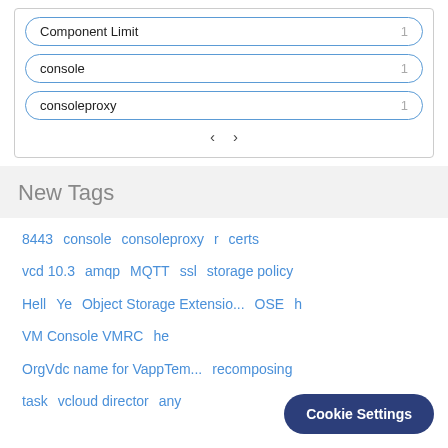| Component Limit |  |
| --- | --- |
| Component Limit | 1 |
| console | 1 |
| consoleproxy | 1 |
< >
New Tags
8443   console   consoleproxy   r   certs   vcd 10.3   amqp   MQTT   ssl   storage policy   Hell   Ye   Object Storage Extensio...   OSE   h   VM Console VMRC   he   OrgVdc name for VappTem...   recomposing   task   vcloud director   any